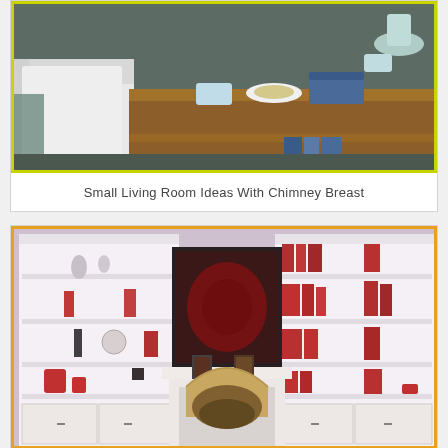[Figure (photo): Living room interior with white sofa on left, large wooden coffee table with items on top including a blue mug, plate with food, books and a blue box. Dark floor visible.]
Small Living Room Ideas With Chimney Breast
[Figure (photo): Living room with chimney breast and fireplace in center flanked by two white built-in bookcases/shelving units with red decorative items and books. A dark abstract painting hangs above the fireplace mantel.]